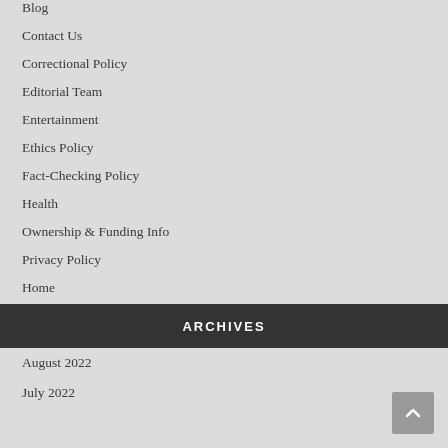Blog
Contact Us
Correctional Policy
Editorial Team
Entertainment
Ethics Policy
Fact-Checking Policy
Health
Ownership & Funding Info
Privacy Policy
Home
ARCHIVES
August 2022
July 2022